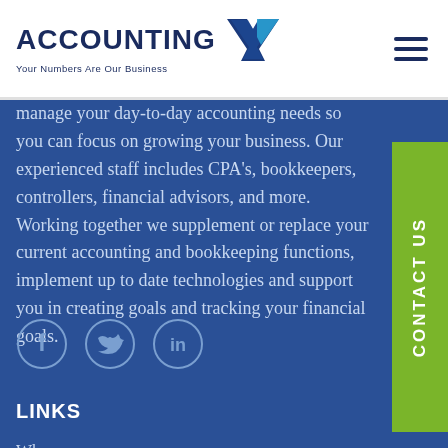[Figure (logo): Accounting X logo with tagline 'Your Numbers Are Our Business' and stylized blue/teal X icon]
manage your day-to-day accounting needs so you can focus on growing your business. Our experienced staff includes CPA's, bookkeepers, controllers, financial advisors, and more. Working together we supplement or replace your current accounting and bookkeeping functions, implement up to date technologies and support you in creating goals and tracking your financial goals.
[Figure (illustration): Three social media icons in circles: Facebook (f), Twitter (bird), LinkedIn (in)]
LINKS
Who we are
What we do
Get In Touch